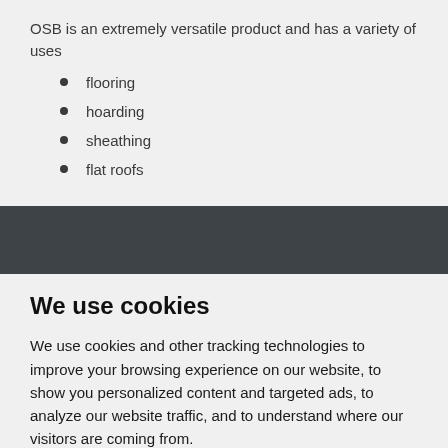OSB is an extremely versatile product and has a variety of uses
flooring
hoarding
sheathing
flat roofs
We use cookies
We use cookies and other tracking technologies to improve your browsing experience on our website, to show you personalized content and targeted ads, to analyze our website traffic, and to understand where our visitors are coming from.